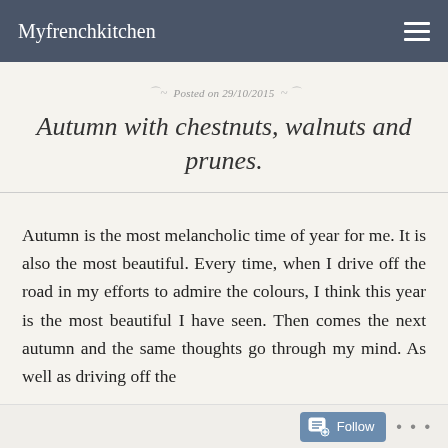Myfrenchkitchen
Posted on 29/10/2015
Autumn with chestnuts, walnuts and prunes.
Autumn is the most melancholic time of year for me. It is also the most beautiful. Every time, when I drive off the road in my efforts to admire the colours, I think this year is the most beautiful I have seen. Then comes the next autumn and the same thoughts go through my mind. As well as driving off the